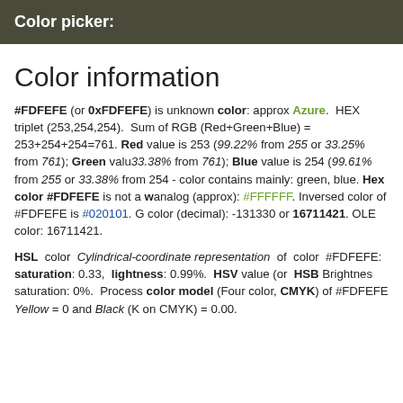Color picker:
Color information
#FDFEFE (or 0xFDFEFE) is unknown color: approx Azure. HEX triplet (253,254,254). Sum of RGB (Red+Green+Blue) = 253+254+254=761. Red value is 253 (99.22% from 255 or 33.25% from 761); Green value 33.38% from 761); Blue value is 254 (99.61% from 255 or 33.38% from 254 - color contains mainly: green, blue. Hex color #FDFEFE is not a w analog (approx): #FFFFFF. Inversed color of #FDFEFE is #020101. G color (decimal): -131330 or 16711421. OLE color: 16711421.
HSL color Cylindrical-coordinate representation of color #FDFEFE: saturation: 0.33, lightness: 0.99%. HSV value (or HSB Brightness saturation: 0%. Process color model (Four color, CMYK) of #FDFEFE Yellow = 0 and Black (K on CMYK) = 0.00.